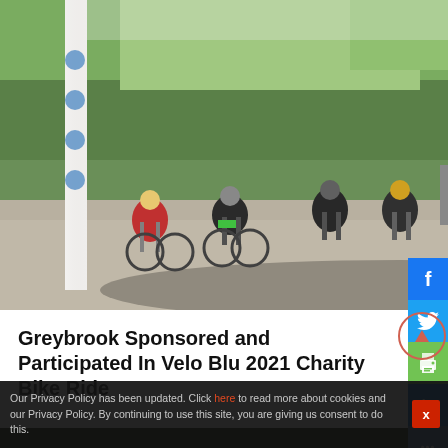[Figure (photo): Cyclists riding under a white archway at the start of a charity bike ride, green trees in background, road in foreground]
Greybrook Sponsored and Participated In Velo Blu 2021 Charity Bike Ride
[Figure (photo): Aerial view of green countryside fields at dusk/night with 'LINDSAY' text overlay in large white letters]
Our Privacy Policy has been updated. Click here to read more about cookies and our Privacy Policy. By continuing to use this site, you are giving us consent to do this.